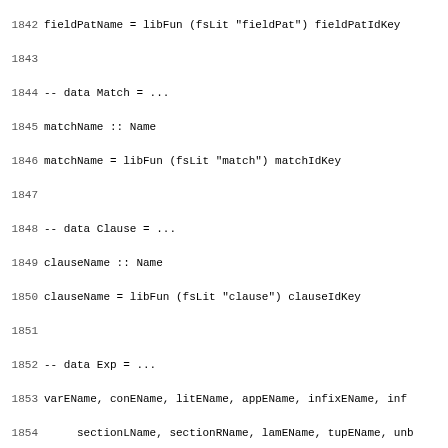Source code listing lines 1842-1874, Haskell code defining names for AST constructors using libFun and fsLit functions